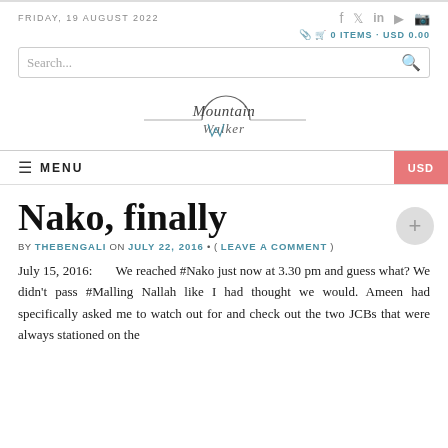FRIDAY, 19 AUGUST 2022
0 ITEMS · USD 0.00
[Figure (logo): Mountain Walker cursive logo with arch graphic]
MENU
Nako, finally
BY THEBENGALI ON JULY 22, 2016 • ( LEAVE A COMMENT )
July 15, 2016:     We reached #Nako just now at 3.30 pm and guess what? We didn't pass #Malling Nallah like I had thought we would. Ameen had specifically asked me to watch out for and check out the two JCBs that were always stationed on the